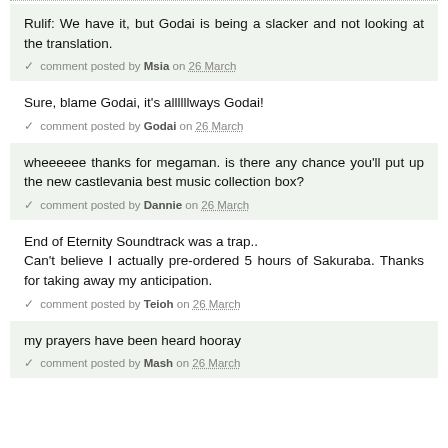Rulif: We have it, but Godai is being a slacker and not looking at the translation.
✓ comment posted by Msia on 26 March
Sure, blame Godai, it's allllllways Godai!
✓ comment posted by Godai on 26 March
wheeeeee thanks for megaman. is there any chance you'll put up the new castlevania best music collection box?
✓ comment posted by Dannie on 26 March
End of Eternity Soundtrack was a trap.. Can't believe I actually pre-ordered 5 hours of Sakuraba. Thanks for taking away my anticipation.
✓ comment posted by Teioh on 26 March
my prayers have been heard hooray
✓ comment posted by Mash on 26 March